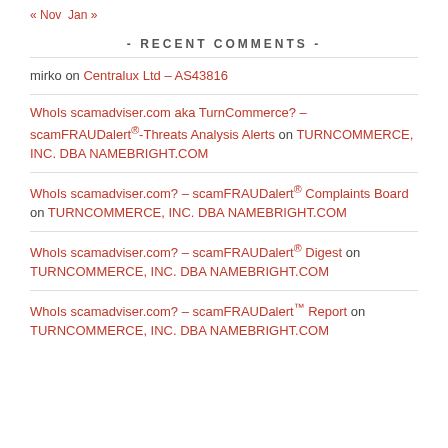« Nov   Jan »
- RECENT COMMENTS -
mirko on Centralux Ltd – AS43816
WhoIs scamadviser.com aka TurnCommerce? – scamFRAUDalert®-Threats Analysis Alerts on TURNCOMMERCE, INC. DBA NAMEBRIGHT.COM
WhoIs scamadviser.com? – scamFRAUDalert® Complaints Board on TURNCOMMERCE, INC. DBA NAMEBRIGHT.COM
WhoIs scamadviser.com? – scamFRAUDalert® Digest on TURNCOMMERCE, INC. DBA NAMEBRIGHT.COM
WhoIs scamadviser.com? – scamFRAUDalert™ Report on TURNCOMMERCE, INC. DBA NAMEBRIGHT.COM